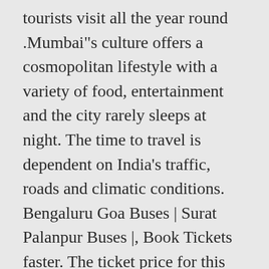tourists visit all the year round .Mumbai"s culture offers a cosmopolitan lifestyle with a variety of food, entertainment and the city rarely sleeps at night. The time to travel is dependent on India's traffic, roads and climatic conditions. Bengaluru Goa Buses | Surat Palanpur Buses |, Book Tickets faster. The ticket price for this bus is ₹450. How many buses are running between Mumbai to Lonavala on the daily basis? Due to this short distance the most preferable mode of transportation would be by car or by bus. Book Mumbai to Lonavala Bus tickets online booking - use code BIGBUS and get upto 500 Rs OFF at MakeMytrip.com. Book tickets now on 12GoAsia! If you are keen on an low-cost